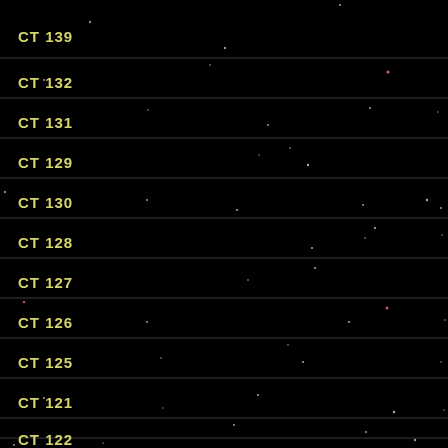[Figure (photo): Astronomical star field image showing horizontal strips labeled with catalog identifiers CT 139, CT 132, CT 131, CT 129, CT 130, CT 128, CT 127, CT 126, CT 125, CT 121, CT 122. Black background with scattered stars visible as small colored dots. Horizontal dividing lines separate each labeled row.]
CT 139
CT 132
CT 131
CT 129
CT 130
CT 128
CT 127
CT 126
CT 125
CT 121
CT 122